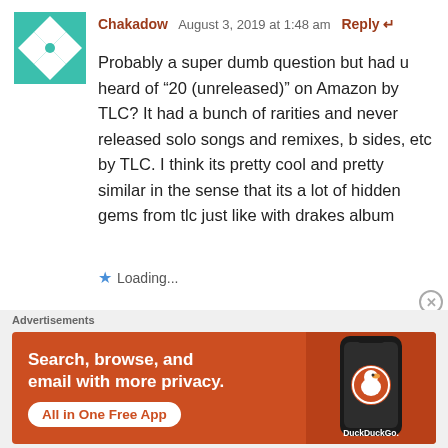[Figure (logo): Teal/green geometric pinwheel avatar icon for user Chakadow]
Chakadow  August 3, 2019 at 1:48 am  Reply
Probably a super dumb question but had u heard of “20 (unreleased)” on Amazon by TLC? It had a bunch of rarities and never released solo songs and remixes, b sides, etc by TLC. I think its pretty cool and pretty similar in the sense that its a lot of hidden gems from tlc just like with drakes album
★ Loading...
Advertisements
[Figure (illustration): DuckDuckGo advertisement banner: orange background with text 'Search, browse, and email with more privacy. All in One Free App' and a phone showing the DuckDuckGo logo]